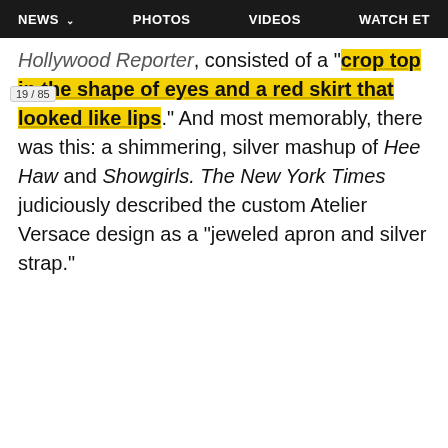NEWS   PHOTOS   VIDEOS   WATCH ET
Hollywood Reporter, consisted of a "crop top in the shape of eyes and a red skirt that looked like lips." And most memorably, there was this: a shimmering, silver mashup of Hee Haw and Showgirls. The New York Times judiciously described the custom Atelier Versace design as a "jeweled apron and silver strap."